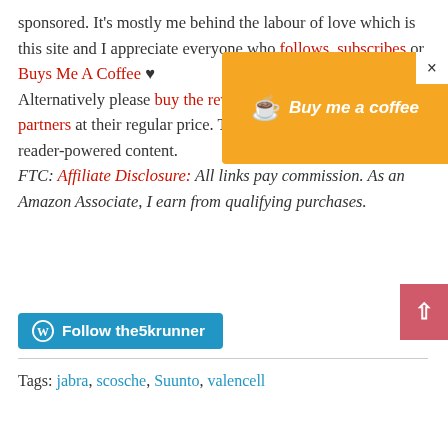sponsored. It's mostly me behind the labour of love which is this site and I appreciate everyone who follows, subscribes or Buys Me A Coffee ♥ Alternatively please buy the reviewed product from my partners at their regular price. Thank you! This really is reader-powered content. FTC: Affiliate Disclosure: All links pay commission. As an Amazon Associate, I earn from qualifying purchases.
[Figure (other): Buy me a coffee orange popup banner with coffee cup icon and cursive text]
[Figure (other): Follow the5krunner WordPress follow button in blue]
Tags: jabra, scosche, Suunto, valencell